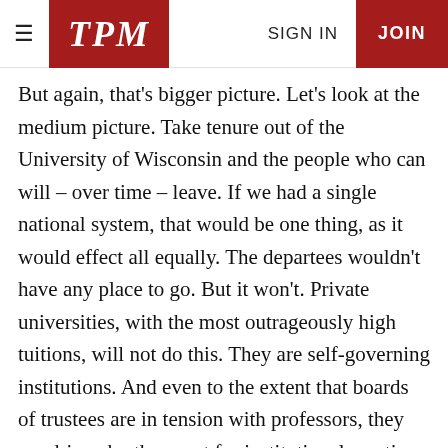TPM | SIGN IN | JOIN
But again, that's bigger picture. Let's look at the medium picture. Take tenure out of the University of Wisconsin and the people who can will – over time – leave. If we had a single national system, that would be one thing, as it would effect all equally. The departees wouldn't have any place to go. But it won't. Private universities, with the most outrageously high tuitions, will not do this. They are self-governing institutions. And even to the extent that boards of trustees are in tension with professors, they are driven by the quest for institutional prestige, not scoring political points. So the top academics will go there. The net effect of all